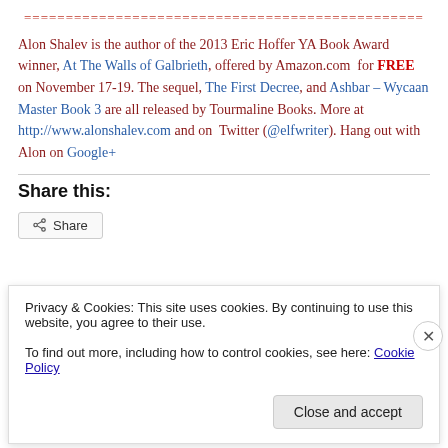================================================
Alon Shalev is the author of the 2013 Eric Hoffer YA Book Award winner, At The Walls of Galbrieth, offered by Amazon.com for FREE on November 17-19. The sequel, The First Decree, and Ashbar – Wycaan Master Book 3 are all released by Tourmaline Books. More at http://www.alonshalev.com and on Twitter (@elfwriter). Hang out with Alon on Google+
Share this:
Share
Privacy & Cookies: This site uses cookies. By continuing to use this website, you agree to their use.
To find out more, including how to control cookies, see here: Cookie Policy
Close and accept